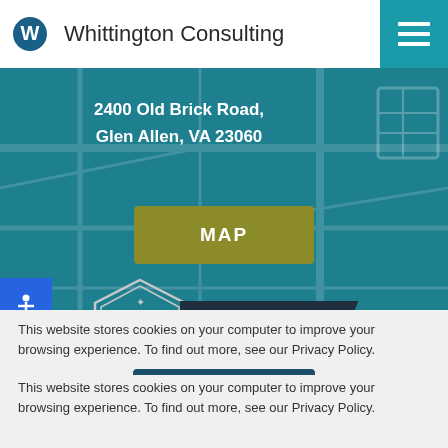[Figure (logo): Whittington Consulting logo with W icon and company name]
2400 Old Brick Road,
Glen Allen, VA 23060
[Figure (map): Interactive map background showing street map in teal/dark teal colors with MAP button overlay]
[Figure (logo): HubSpot Platinum Solutions Partner Program badge]
This website stores cookies on your computer to improve your browsing experience. To find out more, see our Privacy Policy.
Accept and close